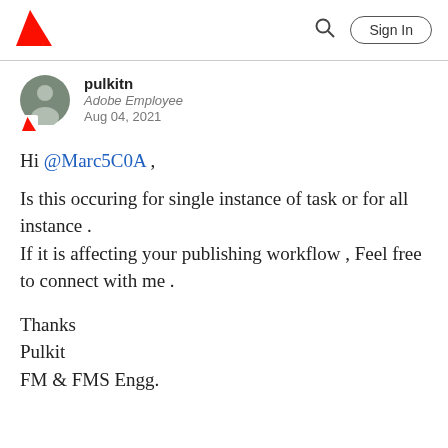Adobe | Sign In
pulkitn
Adobe Employee
Aug 04, 2021
Hi @Marc5C0A ,

Is this occuring for single instance of task or for all instance .
If it is affecting your publishing workflow , Feel free to connect with me .

Thanks
Pulkit
FM & FMS Engg.